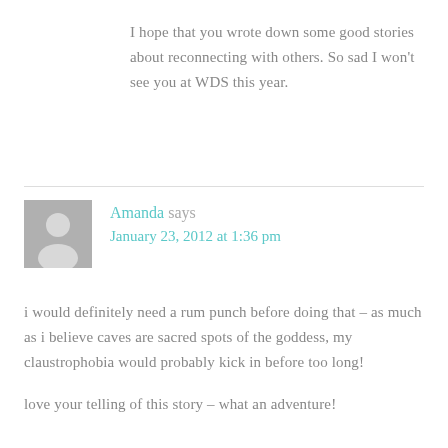I hope that you wrote down some good stories about reconnecting with others. So sad I won't see you at WDS this year.
Amanda says
January 23, 2012 at 1:36 pm
i would definitely need a rum punch before doing that – as much as i believe caves are sacred spots of the goddess, my claustrophobia would probably kick in before too long!
love your telling of this story – what an adventure!